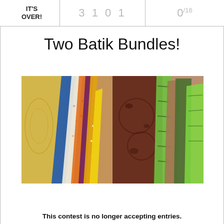IT'S OVER!   3 1 0 1   0/16
Two Batik Bundles!
[Figure (photo): Two batik fabric bundles fanned out side by side. Left bundle shows colorful batik fabrics including yellow, blue, white, orange, purple, and gold. Right bundle shows darker earth-tone and green batik fabrics.]
This contest is no longer accepting entries.